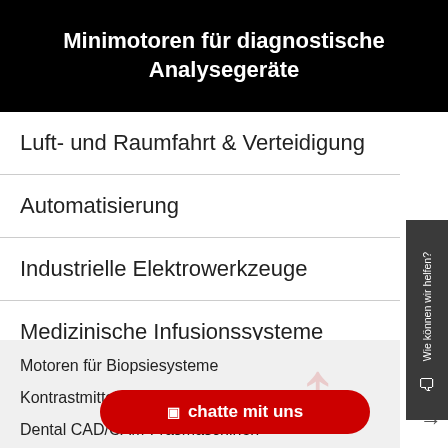Minimotoren für diagnostische Analysegeräte
Luft- und Raumfahrt & Verteidigung
Automatisierung
Industrielle Elektrowerkzeuge
Medizinische Infusionssysteme
Medizin
Motoren für Biopsiesysteme
Kontrastmittelinjektoren
Dental CAD/CAM-Fräsmaschinen
Dentalbohrer
Minimotoren für diagnostische Analysegeräte
Endodontie
chatte mit uns
Wie können wir helfen?